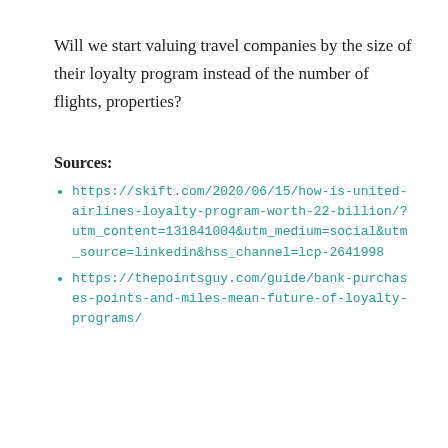Will we start valuing travel companies by the size of their loyalty program instead of the number of flights, properties?
Sources:
https://skift.com/2020/06/15/how-is-united-airlines-loyalty-program-worth-22-billion/?utm_content=131841004&utm_medium=social&utm_source=linkedin&hss_channel=lcp-2641998
https://thepointsguy.com/guide/bank-purchases-points-and-miles-mean-future-of-loyalty-programs/